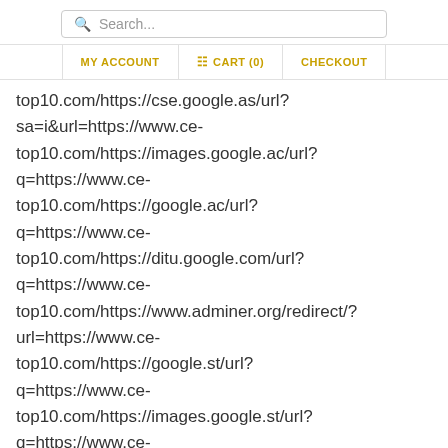Search... | MY ACCOUNT | CART (0) | CHECKOUT
top10.com/https://cse.google.as/url?sa=i&url=https://www.ce-top10.com/https://images.google.ac/url?q=https://www.ce-top10.com/https://google.ac/url?q=https://www.ce-top10.com/https://ditu.google.com/url?q=https://www.ce-top10.com/https://www.adminer.org/redirect/?url=https://www.ce-top10.com/https://google.st/url?q=https://www.ce-top10.com/https://images.google.st/url?q=https://www.ce-top10.com/https://maps.google.st/url?q=https://www.ce-top10.com/https://plus.google.com/url?